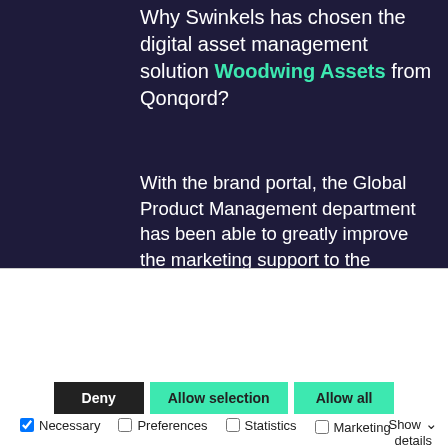Why Swinkels has chosen the digital asset management solution Woodwing Assets from Qonqord?
With the brand portal, the Global Product Management department has been able to greatly improve the marketing support to the countries, while guaranteeing maximum brand consistency. Employees, web designers, photographers, agencies, as well as distributors can search for all marketing...
This website uses cookies
We use cookies to personalise content and ads, to provide social media features and to analyse our traffic. We also share information about your use of our site with our social media, advertising and analytics partners who may combine it with other information that you've provided to them or that they've collected from your use of their services.
Deny | Allow selection | Allow all
Necessary  Preferences  Statistics  Marketing  Show details